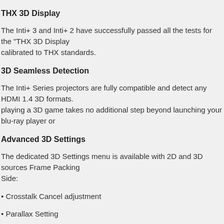THX 3D Display
The Inti+ 3 and Inti+ 2 have successfully passed all the tests for the "THX 3D Display calibrated to THX standards.
3D Seamless Detection
The Inti+ Series projectors are fully compatible and detect any HDMI 1.4 3D formats. playing a 3D game takes no additional step beyond launching your blu-ray player or
Advanced 3D Settings
The dedicated 3D Settings menu is available with 2D and 3D sources Frame Packing Side:
• Crosstalk Cancel adjustment
• Parallax Setting
• 2D-to-3D Conversion
• 2D-to-3D Conversion Intensity
120Hz Clear Motion Drive